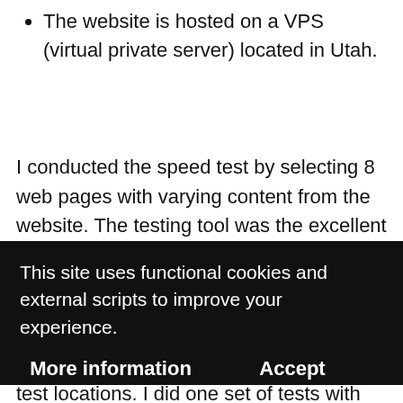The website is hosted on a VPS (virtual private server) located in Utah.
I conducted the speed test by selecting 8 web pages with varying content from the website. The testing tool was the excellent web page speed test tool by Pingdom. This tool allows you to run tests from servers in
This site uses functional cookies and external scripts to improve your experience.
More information    Accept
test locations. I did one set of tests with my